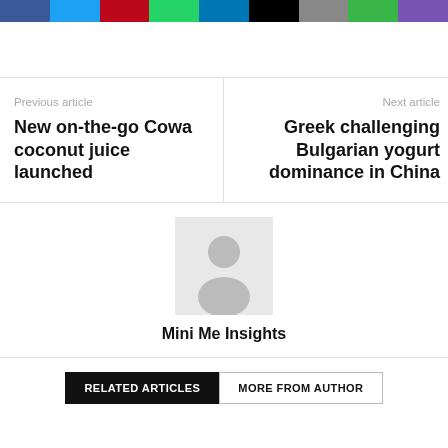[Figure (other): Row of social media share buttons (Facebook, Twitter, Pinterest, WhatsApp, LinkedIn, Black, Email, Print, VK)]
Previous article
New on-the-go Cowa coconut juice launched
Next article
Greek challenging Bulgarian yogurt dominance in China
[Figure (illustration): Default user avatar placeholder — grey square with silhouette of a person]
Mini Me Insights
RELATED ARTICLES   MORE FROM AUTHOR